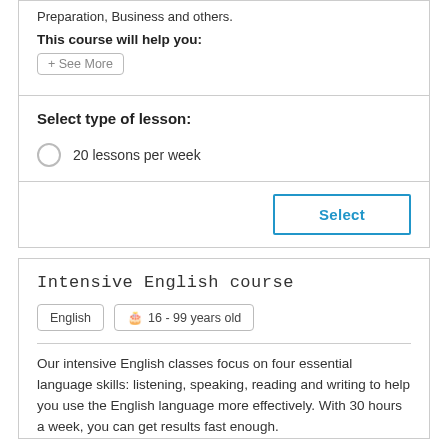Preparation, Business and others.
This course will help you:
+ See More
Select type of lesson:
20 lessons per week
Select
Intensive English course
English
16 - 99 years old
Our intensive English classes focus on four essential language skills: listening, speaking, reading and writing to help you use the English language more effectively. With 30 hours a week, you can get results fast enough.